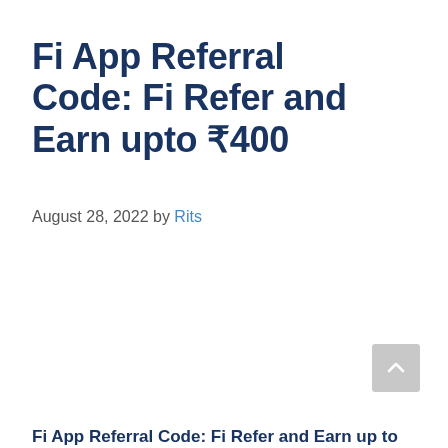Fi App Referral Code: Fi Refer and Earn upto ₹400
August 28, 2022 by Rits
Fi App Referral Code: Fi Refer and Earn up to